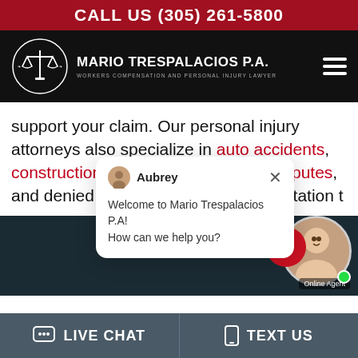CALL US (305) 261-5800
[Figure (logo): Mario Trespalacios P.A. law firm logo with scales of justice emblem and text: MARIO TRESPALACIOS P.A. WORKERS COMPENSATION AND PERSONAL INJURY LAWYER]
support your claim. Our personal injury attorneys also specialize in auto accidents, construction injury, wage and hour disputes, and denied claims. Schedule a consultation t
[Figure (screenshot): Live chat popup with avatar of agent named Aubrey. Message reads: Welcome to Mario Trespalacios P.A! How can we help you?]
[Figure (photo): Online agent photo with notification badge showing 1, red call button, green online dot, and Online Agent label]
LIVE CHAT   TEXT US